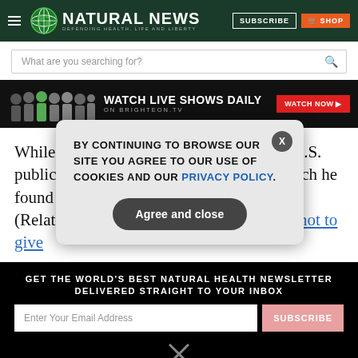Natural News — Defending Health, Life and Liberty
What are you searching for?
[Figure (infographic): Banner ad: Watch Live Shows Daily on Brighteon.TV with Watch Now button and photos of show hosts]
While he was able to publish in Sweden, U.S. publications do not allow for a debate, which he found troubling. (Related: Harvard professor urges parents not to give
GET THE WORLD'S BEST NATURAL HEALTH NEWSLETTER DELIVERED STRAIGHT TO YOUR INBOX
BY CONTINUING TO BROWSE OUR SITE YOU AGREE TO OUR USE OF COOKIES AND OUR PRIVACY POLICY.
Agree and close